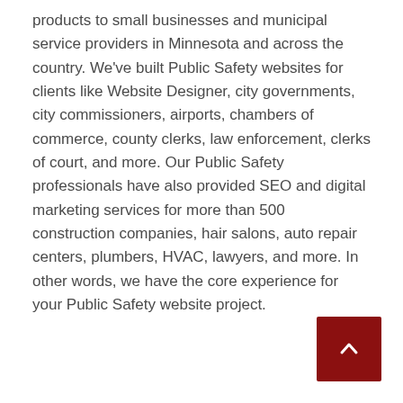products to small businesses and municipal service providers in Minnesota and across the country. We've built Public Safety websites for clients like Website Designer, city governments, city commissioners, airports, chambers of commerce, county clerks, law enforcement, clerks of court, and more. Our Public Safety professionals have also provided SEO and digital marketing services for more than 500 construction companies, hair salons, auto repair centers, plumbers, HVAC, lawyers, and more. In other words, we have the core experience for your Public Safety website project.